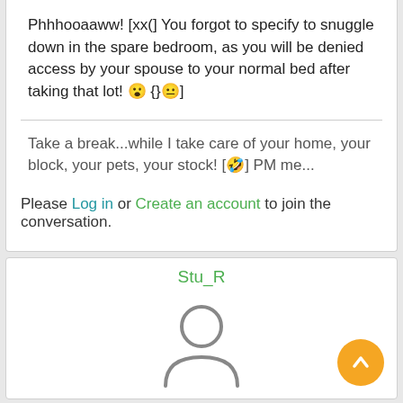Phhhooaaww! [xx(] You forgot to specify to snuggle down in the spare bedroom, as you will be denied access by your spouse to your normal bed after taking that lot! 😮 {}😐]
Take a break...while I take care of your home, your block, your pets, your stock! [😅] PM me...
Please Log in or Create an account to join the conversation.
Stu_R
[Figure (illustration): Generic user avatar icon (person silhouette outline in gray)]